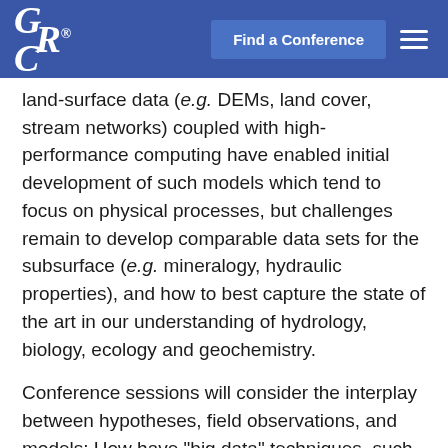GRC® | Find a Conference
land-surface data (e.g. DEMs, land cover, stream networks) coupled with high-performance computing have enabled initial development of such models which tend to focus on physical processes, but challenges remain to develop comparable data sets for the subsurface (e.g. mineralogy, hydraulic properties), and how to best capture the state of the art in our understanding of hydrology, biology, ecology and geochemistry.
Conference sessions will consider the interplay between hypotheses, field observations, and models: How have "big data" techniques, such as data mining and pattern identification, impacted catchment science? Have high frequency sensor data provided new insights into hydrologic and biogeochemical processes?